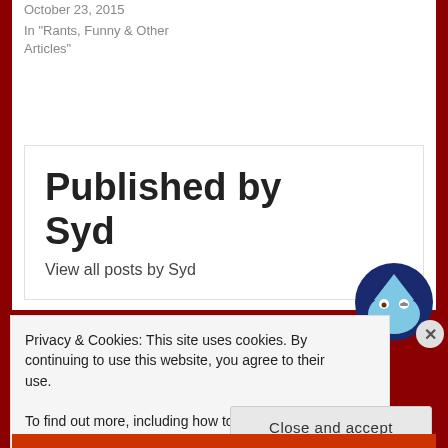October 23, 2015
In "Rants, Funny & Other Articles"
Published by Syd
View all posts by Syd
Privacy & Cookies: This site uses cookies. By continuing to use this website, you agree to their use.
To find out more, including how to control cookies, see here: Cookie Policy
Close and accept